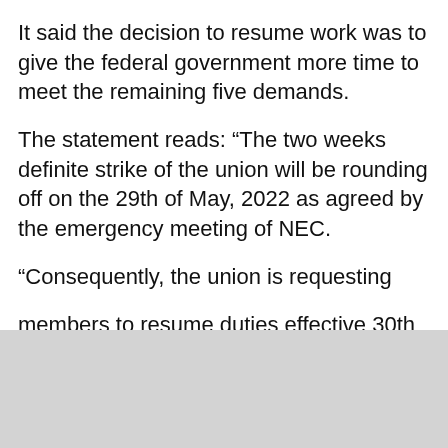It said the decision to resume work was to give the federal government more time to meet the remaining five demands.
The statement reads: “The two weeks definite strike of the union will be rounding off on the 29th of May, 2022 as agreed by the emergency meeting of NEC.
“Consequently, the union is requesting
members to resume duties effective 30th of May, 2022 while hoping that government will take advantage of the window to address the five outstanding items